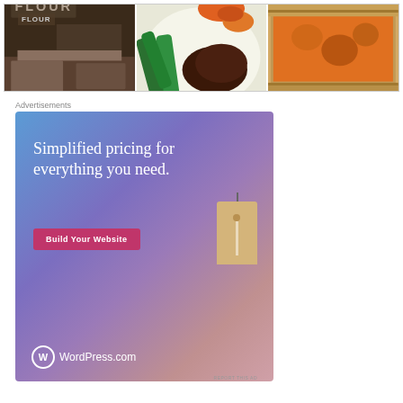[Figure (photo): Three food photos side by side: a flour container with bread slices, a plate with green beans, carrots and a burger patty, and a slice of pie with orange/vegetable filling]
Advertisements
[Figure (illustration): WordPress.com advertisement with blue-purple gradient background. Text reads 'Simplified pricing for everything you need.' with a pink 'Build Your Website' button and a price tag illustration. WordPress.com logo at bottom left. 'REPORT THIS AD' text at bottom right.]